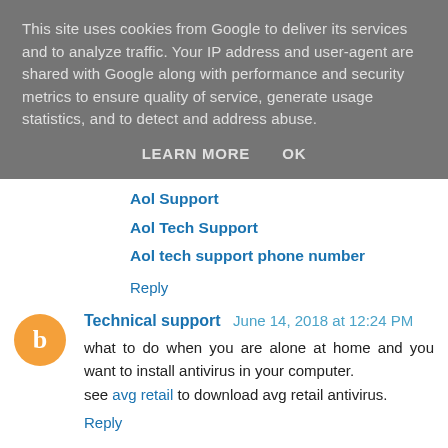This site uses cookies from Google to deliver its services and to analyze traffic. Your IP address and user-agent are shared with Google along with performance and security metrics to ensure quality of service, generate usage statistics, and to detect and address abuse.
LEARN MORE   OK
Aol Support
Aol Tech Support
Aol tech support phone number
Reply
Technical support  June 14, 2018 at 12:24 PM
what to do when you are alone at home and you want to install antivirus in your computer.
see avg retail to download avg retail antivirus.
Reply